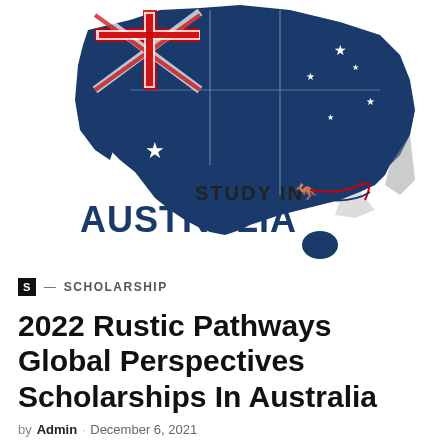[Figure (illustration): Australia map filled with the Australian flag (blue with Union Jack and stars), with text 'STUDY IN AUSTRALIA' and a kangaroo silhouette logo below the map]
S — SCHOLARSHIP
2022 Rustic Pathways Global Perspectives Scholarships In Australia
by Admin · December 6, 2021